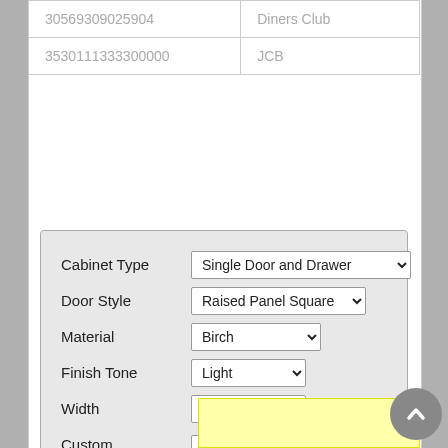| 30569309025904 | Diners Club |
| 3530111333300000 | JCB |
[Figure (screenshot): Web form panel with fields: Cabinet Type (Single Door and Drawer), Door Style (Raised Panel Square), Material (Birch), Finish Tone (Light), Width (3), Custom Width (text input), and Update Model button]